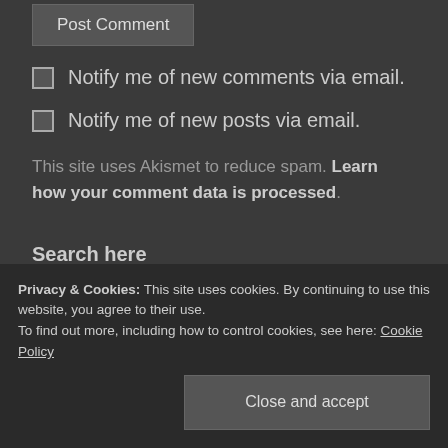Post Comment
Notify me of new comments via email.
Notify me of new posts via email.
This site uses Akismet to reduce spam. Learn how your comment data is processed.
Search here
Search
Privacy & Cookies: This site uses cookies. By continuing to use this website, you agree to their use.
To find out more, including how to control cookies, see here: Cookie Policy
Close and accept